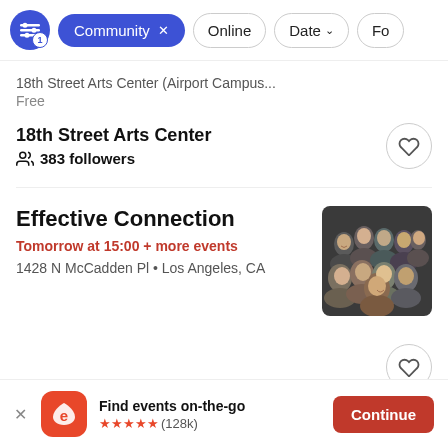Filter controls: Community (active), Online, Date, For...
18th Street Arts Center (Airport Campus...
Free
18th Street Arts Center
383 followers
Effective Connection
Tomorrow at 15:00 + more events
1428 N McCadden Pl • Los Angeles, CA
[Figure (photo): Group photo of people posing together indoors]
Find events on-the-go ★★★★★ (128k)  Continue